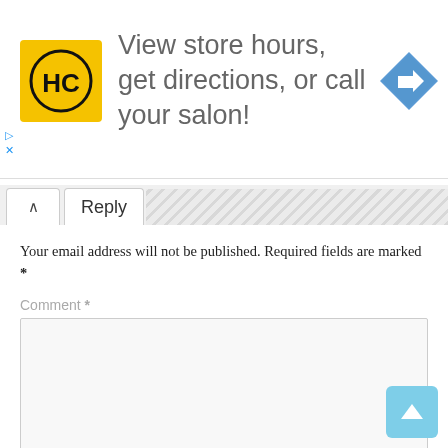[Figure (illustration): Advertisement banner with HC logo (yellow square with HC text) and text: View store hours, get directions, or call your salon! with a blue navigation arrow icon on the right. Has play and close control buttons on the left edge.]
Reply
Your email address will not be published. Required fields are marked *
Comment *
Name *
Email *